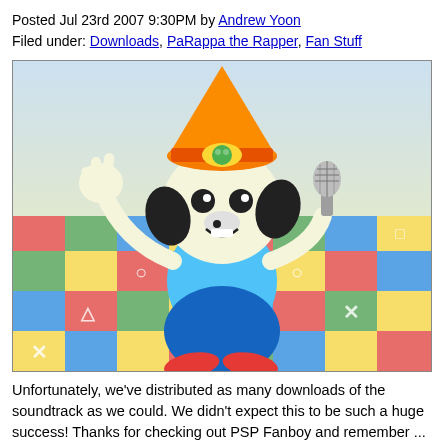Posted Jul 23rd 2007 9:30PM by Andrew Yoon
Filed under: Downloads, PaRappa the Rapper, Fan Stuff
[Figure (illustration): PaRappa the Rapper cartoon character holding a microphone and making a peace sign, standing on a colorful tiled floor with PlayStation symbols]
Unfortunately, we've distributed as many downloads of the soundtrack as we could. We didn't expect this to be such a huge success! Thanks for checking out PSP Fanboy and remember ...